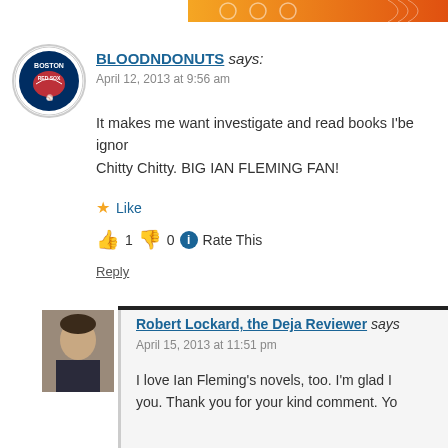[Figure (other): Orange decorative banner at top right]
[Figure (photo): Boston Red Sox logo avatar for user BLOODNDONUTS]
BLOODNDONUTS says:
April 12, 2013 at 9:56 am
It makes me want investigate and read books I'be ignor Chitty Chitty. BIG IAN FLEMING FAN!
Like
1  0  Rate This
Reply
[Figure (photo): Profile photo of Robert Lockard, the Deja Reviewer - man in dark shirt]
Robert Lockard, the Deja Reviewer says
April 15, 2013 at 11:51 pm
I love Ian Fleming's novels, too. I'm glad I you. Thank you for your kind comment. Yo